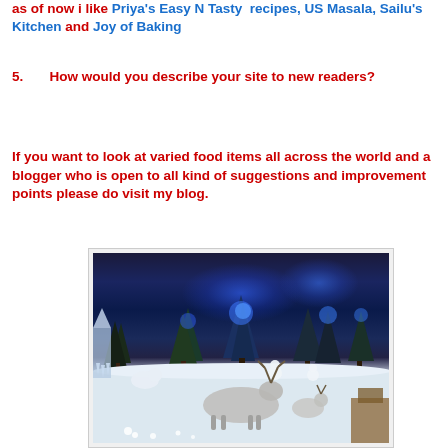as of now i like Priya's Easy N Tasty recipes, US Masala, Sailu's Kitchen and Joy of Baking
5.    How would you describe your site to new readers?
If you want to look at varied food items all across the world and a blogger who is open to all kind of suggestions and improvement points please do visit my blog.
[Figure (photo): A winter scene with miniature figurines including a reindeer in the foreground, snow-covered ground, blue LED lit trees and decorations in the background, creating a festive Christmas display.]